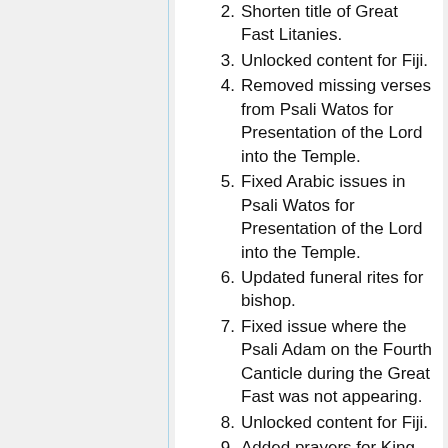2. Shorten title of Great Fast Litanies.
3. Unlocked content for Fiji.
4. Removed missing verses from Psali Watos for Presentation of the Lord into the Temple.
5. Fixed Arabic issues in Psali Watos for Presentation of the Lord into the Temple.
6. Updated funeral rites for bishop.
7. Fixed issue where the Psali Adam on the Fourth Canticle during the Great Fast was not appearing.
8. Unlocked content for Fiji.
9. Added prayers for King David and St. Karas the Anchorite.
10. Added Arabic text for Synaxarion entry for Pope Kyrillos VI.
Version 2.67
1. (partial, cut off)